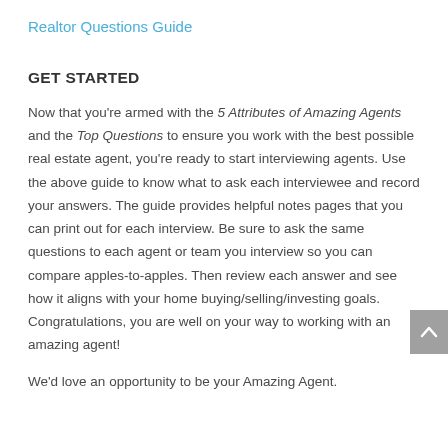Realtor Questions Guide
GET STARTED
Now that you're armed with the 5 Attributes of Amazing Agents and the Top Questions to ensure you work with the best possible real estate agent, you're ready to start interviewing agents. Use the above guide to know what to ask each interviewee and record your answers. The guide provides helpful notes pages that you can print out for each interview. Be sure to ask the same questions to each agent or team you interview so you can compare apples-to-apples. Then review each answer and see how it aligns with your home buying/selling/investing goals. Congratulations, you are well on your way to working with an amazing agent!
We'd love an opportunity to be your Amazing Agent.